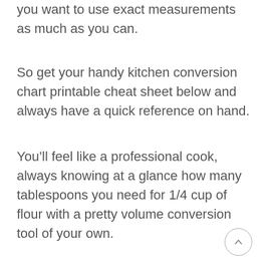you want to use exact measurements as much as you can.
So get your handy kitchen conversion chart printable cheat sheet below and always have a quick reference on hand.
You’ll feel like a professional cook, always knowing at a glance how many tablespoons you need for 1/4 cup of flour with a pretty volume conversion tool of your own.